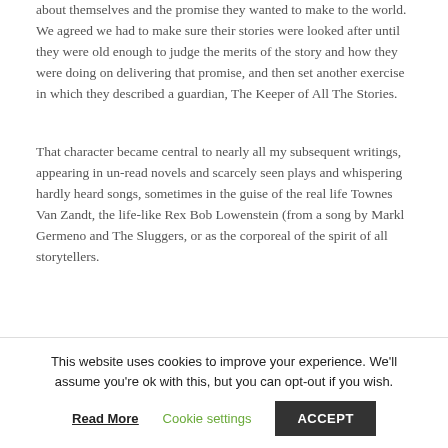about themselves and the promise they wanted to make to the world. We agreed we had to make sure their stories were looked after until they were old enough to judge the merits of the story and how they were doing on delivering that promise, and then set another exercise in which they described a guardian, The Keeper of All The Stories.
That character became central to nearly all my subsequent writings, appearing in un-read novels and scarcely seen plays and whispering hardly heard songs, sometimes in the guise of the real life Townes Van Zandt, the life-like Rex Bob Lowenstein (from a song by Markl Germeno and The Sluggers, or as the corporeal of the spirit of all storytellers.
Little did I know
[Figure (other): Blue rectangle with gold/yellow border partially visible, likely a book cover image]
This website uses cookies to improve your experience. We'll assume you're ok with this, but you can opt-out if you wish.
Read More | Cookie settings | ACCEPT